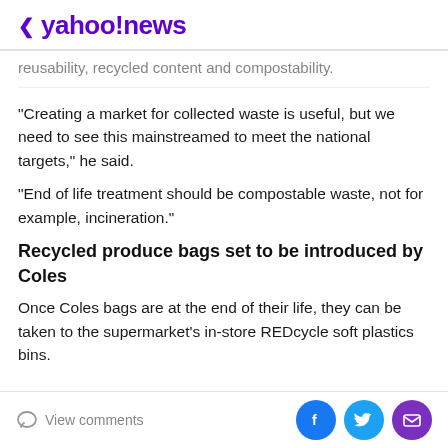< yahoo!news
reusability, recycled content and compostability.
“Creating a market for collected waste is useful, but we need to see this mainstreamed to meet the national targets,” he said.
“End of life treatment should be compostable waste, not for example, incineration.”
Recycled produce bags set to be introduced by Coles
Once Coles bags are at the end of their life, they can be taken to the supermarket’s in-store REDcycle soft plastics bins.
View comments